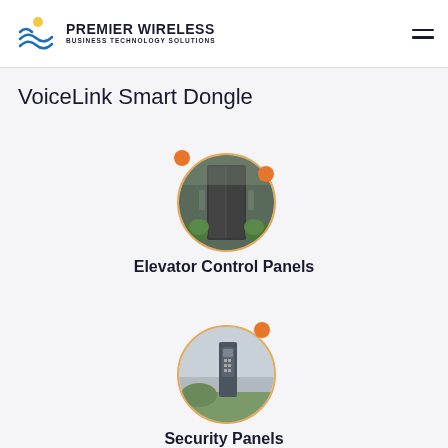PREMIER WIRELESS BUSINESS TECHNOLOGY SOLUTIONS
VoiceLink Smart Dongle
[Figure (photo): Circular photo of an elevator control panel with an orange dot accent, inside a rounded border]
Elevator Control Panels
[Figure (photo): Circular photo of a security panel/intercom on a post with an orange dot accent, inside a rounded border]
Security Panels